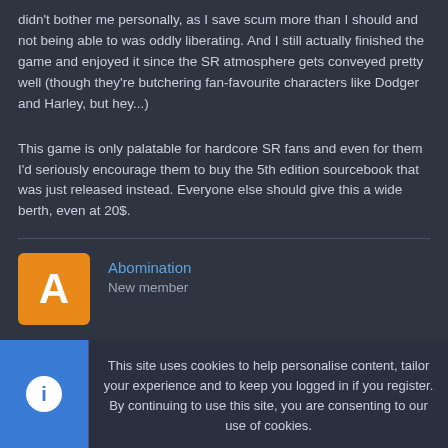didn't bother me personally, as I save scum more than I should and not being able to was oddly liberating. And I still actually finished the game and enjoyed it since the SR atmosphere gets conveyed pretty well (though they're butchering fan-favourite characters like Dodger and Harley, but hey...)
This game is only palatable for hardcore SR fans and even for them I'd seriously encourage them to buy the 5th edition sourcebook that was just released instead. Everyone else should give this a wide berth, even at 20$.
Abomination
New member
Aug 7, 2013
#14
This site uses cookies to help personalise content, tailor your experience and to keep you logged in if you register.
By continuing to use this site, you are consenting to our use of cookies.
Accept  Learn more...